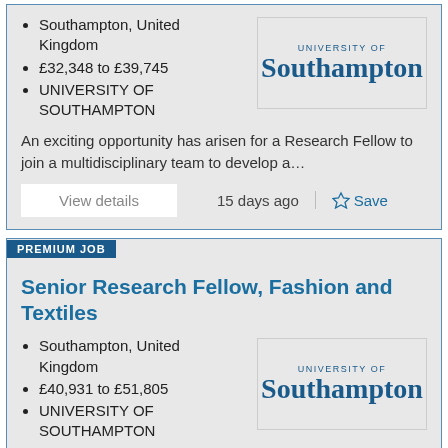Southampton, United Kingdom
£32,348 to £39,745
UNIVERSITY OF SOUTHAMPTON
[Figure (logo): University of Southampton logo]
An exciting opportunity has arisen for a Research Fellow to join a multidisciplinary team to develop a...
View details
15 days ago
Save
PREMIUM JOB
Senior Research Fellow, Fashion and Textiles
Southampton, United Kingdom
£40,931 to £51,805
UNIVERSITY OF SOUTHAMPTON
[Figure (logo): University of Southampton logo]